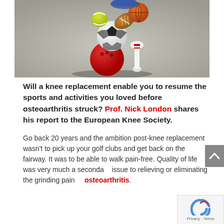[Figure (photo): Photo of multiple sports balls (soccer ball, football, tennis ball, bowling ball, bowling pin) stacked and falling, on a grey background]
Will a knee replacement enable you to resume the sports and activities you loved before osteoarthritis struck? Prof. Nick London shares his report to the European Knee Society.
Go back 20 years and the ambition post-knee replacement wasn't to pick up your golf clubs and get back on the fairway. It was to be able to walk pain-free. Quality of life was very much a secondary issue to relieving or eliminating the grinding pain of osteoarthritis.